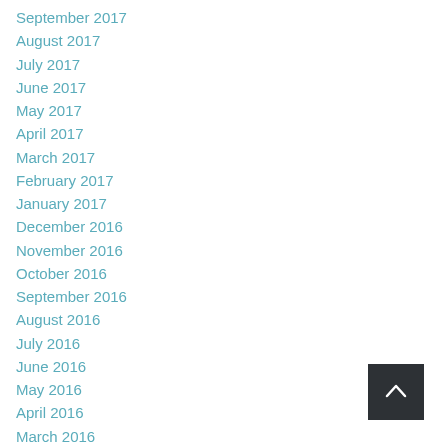September 2017
August 2017
July 2017
June 2017
May 2017
April 2017
March 2017
February 2017
January 2017
December 2016
November 2016
October 2016
September 2016
August 2016
July 2016
June 2016
May 2016
April 2016
March 2016
[Figure (other): Scroll-to-top button with upward chevron arrow on dark background]